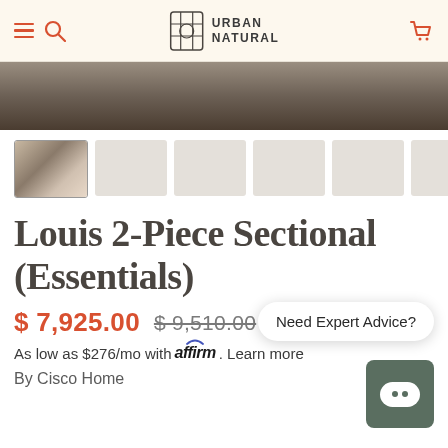Urban Natural
[Figure (photo): Hero product image strip showing dark textured background, partially visible furniture]
[Figure (photo): Thumbnail row: first thumbnail shows sofa/sectional in styled room, remaining thumbnails are gray placeholders]
Louis 2-Piece Sectional (Essentials)
$ 7,925.00  $ 9,510.00
As low as $276/mo with affirm. Learn more
By Cisco Home
Need Expert Advice?